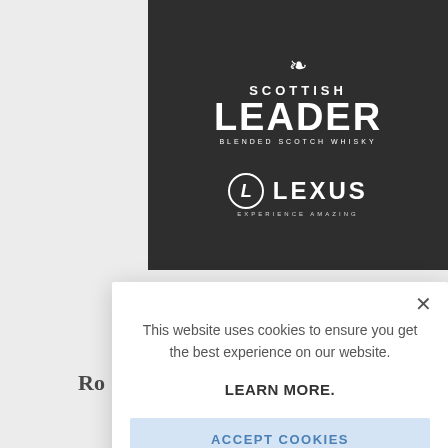[Figure (screenshot): Scottish Leader Blended Scotch Whisky logo and Lexus Experience Amazing logo on black background advertisement banner]
Ro
[Figure (screenshot): Cookie consent modal dialog overlaying a webpage. Contains close (X) button, text reading 'This website uses cookies to ensure you get the best experience on our website. LEARN MORE.' and an ACCEPT COOKIES button.]